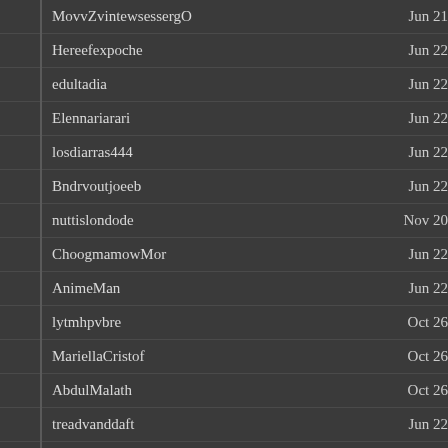MovvZvintewsessergO — Jun 21
Hereefexpoche — Jun 22
edultadia — Jun 22
Elennariarari — Jun 22
losdiarras444 — Jun 22
Bndrvoutjoeeb — Jun 22
nuttislondode — Nov 20
ChoogmamowMor — Jun 22
AnimeMan — Jun 22
lytmhpvbre — Oct 26
MariellaCristof — Oct 26
AbdulMalath — Oct 26
treadvanddaft — Jun 22